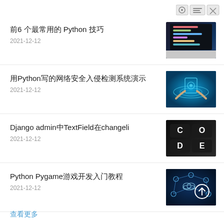前6 个最常用的 Python 技巧
2021-12-12
[Figure (photo): Laptop with code on screen]
用Python写的网络安全入侵检测系统演示
2021-12-12
[Figure (photo): Hands touching glowing blue tablet screen]
Django admin中TextField在changeli
2021-12-12
[Figure (photo): Black keyboard keys spelling CODE]
Python Pygame游戏开发入门教程
2021-12-12
[Figure (photo): Network diagram with upload arrow]
查看更多